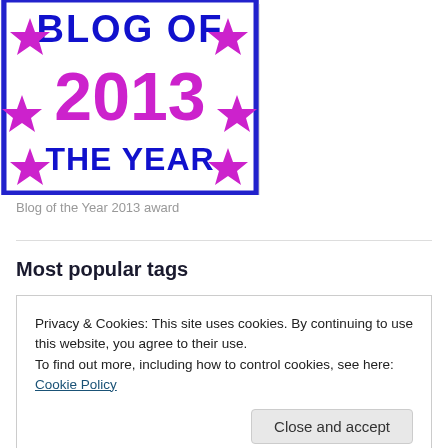[Figure (illustration): Blog of the Year 2013 award badge — white background with blue border, purple stars, blue text 'BLOG OF' and 'THE YEAR', magenta/pink large '2013' text, decorative stars at corners and sides]
Blog of the Year 2013 award
Most popular tags
Privacy & Cookies: This site uses cookies. By continuing to use this website, you agree to their use.
To find out more, including how to control cookies, see here: Cookie Policy
Close and accept